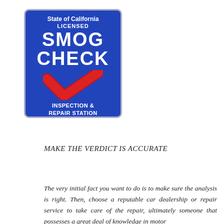[Figure (photo): State of California Licensed Smog Check Inspection & Repair Station blue sign with red checkmark]
MAKE THE VERDICT IS ACCURATE
The very initial fact you want to do is to make sure the analysis is right. Then, choose a reputable car dealership or repair service to take care of the repair, ultimately someone that possesses a great deal of knowledge in motor